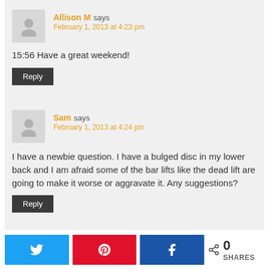15:56 Have a great weekend!
Reply
Sam says February 1, 2013 at 4:24 pm
I have a newbie question. I have a bulged disc in my lower back and I am afraid some of the bar lifts like the dead lift are going to make it worse or aggravate it. Any suggestions?
Reply
0 SHARES